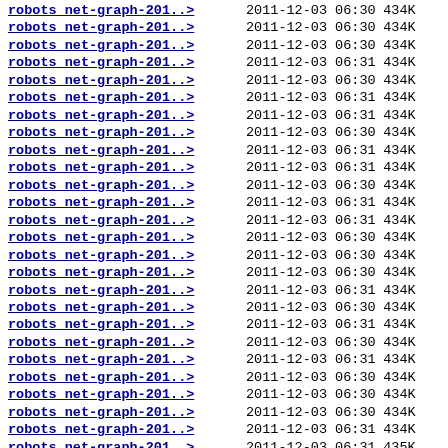| filename | date | time | size |
| --- | --- | --- | --- |
| robots net-graph-201..> | 2011-12-03 | 06:30 | 434K |
| robots net-graph-201..> | 2011-12-03 | 06:30 | 434K |
| robots net-graph-201..> | 2011-12-03 | 06:30 | 434K |
| robots net-graph-201..> | 2011-12-03 | 06:31 | 434K |
| robots net-graph-201..> | 2011-12-03 | 06:30 | 434K |
| robots net-graph-201..> | 2011-12-03 | 06:31 | 434K |
| robots net-graph-201..> | 2011-12-03 | 06:31 | 434K |
| robots net-graph-201..> | 2011-12-03 | 06:30 | 434K |
| robots net-graph-201..> | 2011-12-03 | 06:31 | 434K |
| robots net-graph-201..> | 2011-12-03 | 06:31 | 434K |
| robots net-graph-201..> | 2011-12-03 | 06:30 | 434K |
| robots net-graph-201..> | 2011-12-03 | 06:31 | 434K |
| robots net-graph-201..> | 2011-12-03 | 06:31 | 434K |
| robots net-graph-201..> | 2011-12-03 | 06:30 | 434K |
| robots net-graph-201..> | 2011-12-03 | 06:30 | 434K |
| robots net-graph-201..> | 2011-12-03 | 06:30 | 434K |
| robots net-graph-201..> | 2011-12-03 | 06:31 | 434K |
| robots net-graph-201..> | 2011-12-03 | 06:30 | 434K |
| robots net-graph-201..> | 2011-12-03 | 06:31 | 434K |
| robots net-graph-201..> | 2011-12-03 | 06:30 | 434K |
| robots net-graph-201..> | 2011-12-03 | 06:31 | 434K |
| robots net-graph-201..> | 2011-12-03 | 06:30 | 434K |
| robots net-graph-201..> | 2011-12-03 | 06:30 | 434K |
| robots net-graph-201..> | 2011-12-03 | 06:30 | 434K |
| robots net-graph-201..> | 2011-12-03 | 06:31 | 434K |
| robots net-graph-201..> | 2011-12-03 | 06:31 | 435K |
| robots net-graph-201..> | 2011-12-03 | 06:31 | 435K |
| robots net-graph-201..> | 2011-12-03 | 06:30 | 435K |
| robots net-graph-201..> | 2011-12-03 | 06:30 | 435K |
| robots net-graph-201..> | 2011-12-03 | 06:30 | 435K |